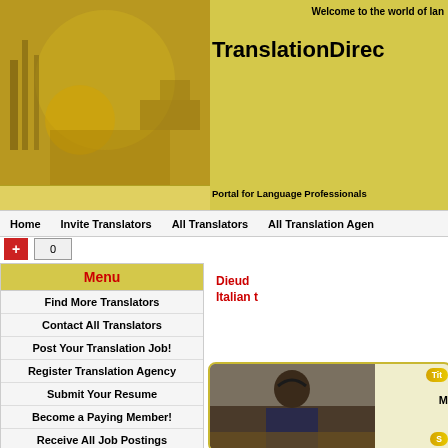Welcome to the world of lan...
TranslationDirec...
Portal for Language Professionals
Home   Invite Translators   All Translators   All Translation Agen...
+ 0
Menu
Find More Translators
Contact All Translators
Post Your Translation Job!
Register Translation Agency
Submit Your Resume
Become a Paying Member!
Receive All Job Postings
Work for Translation Agencies
Visit Language Job Board
Dieud... Italian t...
[Figure (photo): Profile photo of a person sitting at a computer workstation]